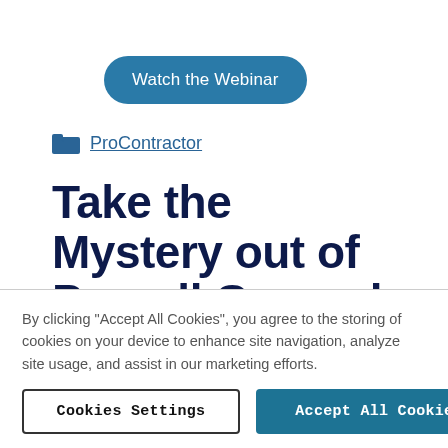[Figure (other): Blue rounded button labeled 'Watch the Webinar']
ProContractor
Take the Mystery out of Payroll General Ledger Posting from Service
By clicking "Accept All Cookies", you agree to the storing of cookies on your device to enhance site navigation, analyze site usage, and assist in our marketing efforts.
Cookies Settings
Accept All Cookies